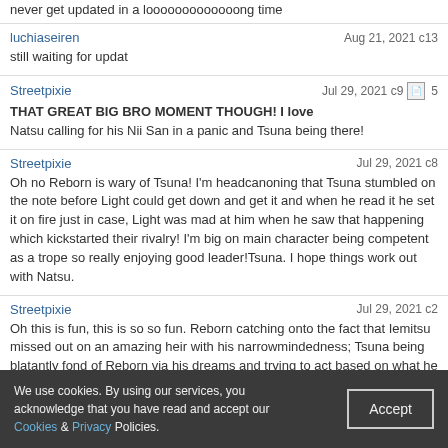never get updated in a looooooooooooong time
luchiaseiren — Aug 21, 2021 c13
still waiting for updat
Streetpixie — Jul 29, 2021 c9 — 5
THAT GREAT BIG BRO MOMENT THOUGH! I love Natsu calling for his Nii San in a panic and Tsuna being there!
Streetpixie — Jul 29, 2021 c8
Oh no Reborn is wary of Tsuna! I'm headcanoning that Tsuna stumbled on the note before Light could get down and get it and when he read it he set it on fire just in case, Light was mad at him when he saw that happening which kickstarted their rivalry! I'm big on main character being competent as a trope so really enjoying good leader!Tsuna. I hope things work out with Natsu.
Streetpixie — Jul 29, 2021 c2
Oh this is fun, this is so so fun. Reborn catching onto the fact that Iemitsu missed out on an amazing heir with his narrowmindedness; Tsuna being blatantly fond of Reborn via his dreams and trying to act based on what he knows won't annoy him accidently earning this new opinion, Tsuna trying to be a good big brother to Natsu, Natsu continuously putting his foot in his mouth saying blatantly unkind things to Tsuna redeemed by the fact that he's just a kid under a lot of pressure too. I love it all so far. I'm really looking forward to reading the rest of the fic!
Skyegrave — Jul 1, 2021 c6
We use cookies. By using our services, you acknowledge that you have read and accept our Cookies & Privacy Policies. Accept